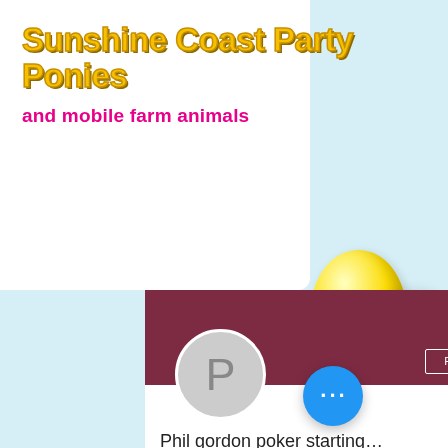Sunshine Coast Party Ponies
and mobile farm animals
[Figure (screenshot): A Google+ or social media profile card screenshot showing a maroon banner, a gray circle avatar with letter P, a Follow button, the profile name 'Phil gordon poker starting...', '0 Followers • 0 Following', and an empty text input box. A blue chat bubble with three dots appears bottom right.]